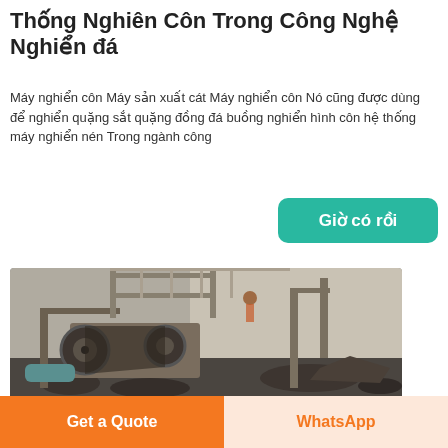Thống Nghiên Côn Trong Công Nghệ Nghiển đá
Máy nghiển côn Máy sản xuất cát Máy nghiển côn Nó cũng được dùng để nghiển quặng sắt quặng đồng đá buồng nghiển hình côn hệ thống máy nghiển nén Trong ngành công
[Figure (other): Button with teal background reading 'Giờ có rồi']
[Figure (photo): Industrial stone crushing machine at a quarry or mining site, showing heavy machinery with belts, pulleys, and rock debris in a dusty environment.]
[Figure (other): Bottom action bar with two buttons: orange 'Get a Quote' button on the left and light orange 'WhatsApp' button on the right.]